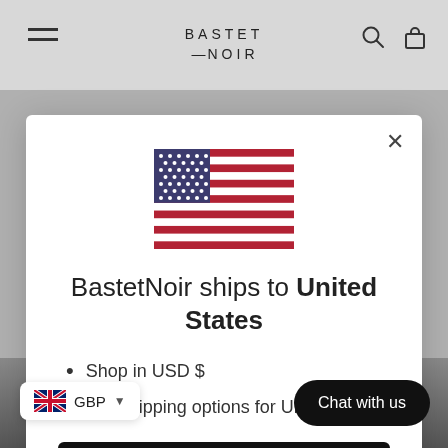BASTET NOIR
[Figure (screenshot): US flag emoji/icon centered in modal]
BastetNoir ships to United States
Shop in USD $
Get shipping options for United States
Shop now
Change shipping country
Chat with us
GBP